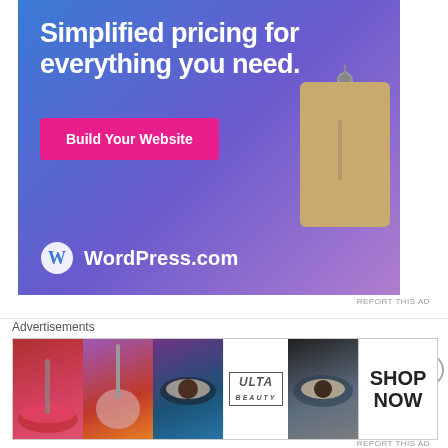[Figure (illustration): WordPress.com advertisement banner with blue-purple gradient background, text 'Simplified pricing for everything you need.', a pink 'Build Your Website' button, a price tag graphic, and the WordPress.com logo at bottom left.]
REPORT THIS AD
#WomanlyWoman (@WomanlyWoman)
APRIL 15, 2016 AT 8:09 AM
I mentioned this in a comment on Facebook, but the Church Growth movement isn't experiencing this (to m...
Advertisements
[Figure (illustration): Ulta Beauty advertisement banner showing makeup close-up images (lips, brush, eye, Ulta logo, eye close-up) with SHOP NOW button.]